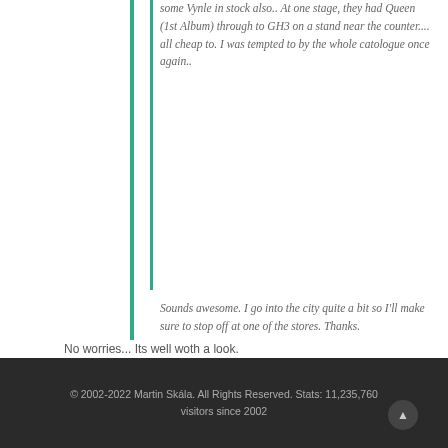some Vynle in stock also.. At one stage, they had Queen (1st Album) through to GH3 on a stand near the counter.... all cheap to. I was tempted to by the whole catologue once again..
Sounds awesome. I go into the city quite a bit so I'll make sure to stop off at one of the stores. Thanks.
No worries... Its well woth a look.
© 2002-2022 Martin Skála. All Rights Reserved. Stats: 11,235,760 visitors since 2002